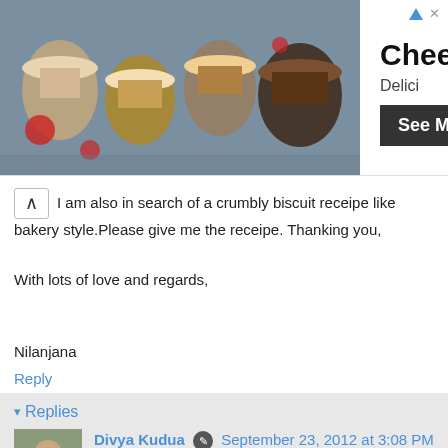[Figure (photo): Advertisement banner showing cheesecakes in jars with text 'Cheesecakes', 'Delici', and a 'See More' button]
I am also in search of a crumbly biscuit receipe like bakery style.Please give me the receipe. Thanking you,

With lots of love and regards,

Nilanjana
Reply
▾ Replies
Divya Kudua  September 23, 2012 at 3:08 PM
Thanks for the feedback Nilanjana.Sorry to hear that the biscuits didn't come out well for you.I'd suggest you to decrease the temperature by 10-15 degrees and bake.Sometimes high heat